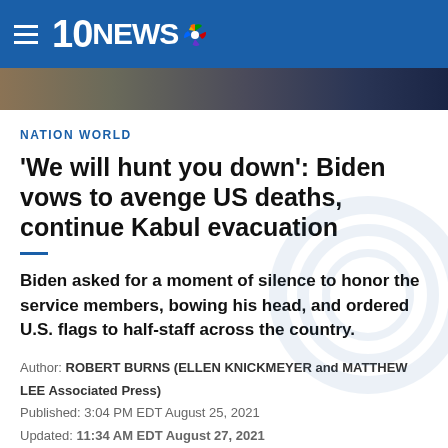10NEWS NBC
[Figure (photo): A blurred photo strip showing people, used as a banner image beneath the navigation header]
NATION WORLD
'We will hunt you down': Biden vows to avenge US deaths, continue Kabul evacuation
Biden asked for a moment of silence to honor the service members, bowing his head, and ordered U.S. flags to half-staff across the country.
Author: ROBERT BURNS (ELLEN KNICKMEYER and MATTHEW LEE Associated Press)
Published: 3:04 PM EDT August 25, 2021
Updated: 11:34 AM EDT August 27, 2021